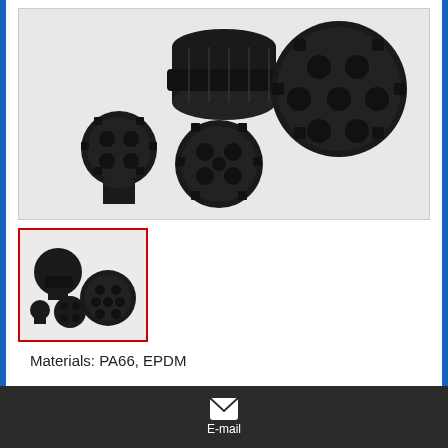[Figure (photo): Close-up photo of multiple black plastic multi-cable glands/fittings of various sizes, showing threaded bodies and multi-hole seal inserts, against a light gray background.]
[Figure (photo): Thumbnail photo of black plastic multi-cable glands of various sizes arranged together on a light gray background.]
Materials: PA66, EPDM
E-mail